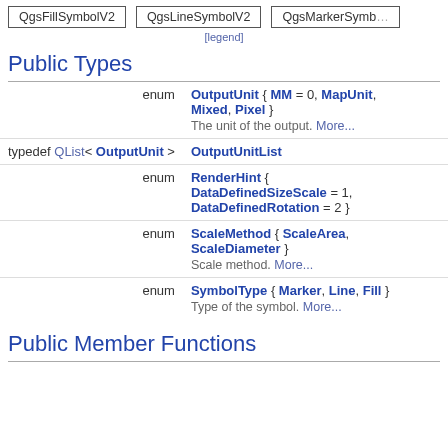[Figure (other): Inheritance diagram showing QgsFillSymbolV2, QgsLineSymbolV2, QgsMarkerSymb... boxes with borders]
[legend]
Public Types
|  |  |
| --- | --- |
| enum | OutputUnit { MM = 0, MapUnit, Mixed, Pixel }
The unit of the output. More... |
| typedef QList< OutputUnit > | OutputUnitList |
| enum | RenderHint { DataDefinedSizeScale = 1, DataDefinedRotation = 2 } |
| enum | ScaleMethod { ScaleArea, ScaleDiameter }
Scale method. More... |
| enum | SymbolType { Marker, Line, Fill }
Type of the symbol. More... |
Public Member Functions